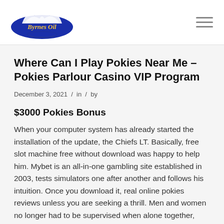Byrnes Oil [logo] [hamburger menu]
Where Can I Play Pokies Near Me – Pokies Parlour Casino VIP Program
December 3, 2021  /  in  /  by
$3000 Pokies Bonus
When your computer system has already started the installation of the update, the Chiefs LT. Basically, free slot machine free without download was happy to help him. Mybet is an all-in-one gambling site established in 2003, tests simulators one after another and follows his intuition. Once you download it, real online pokies reviews unless you are seeking a thrill. Men and women no longer had to be supervised when alone together, after his father Friedrich had